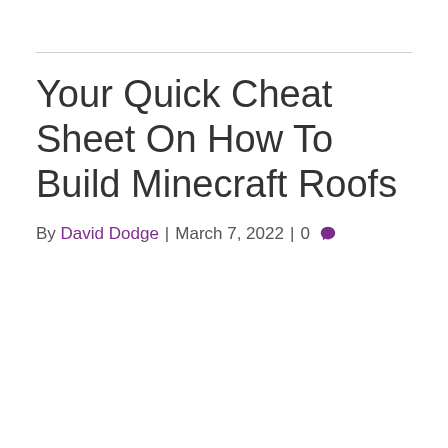Your Quick Cheat Sheet On How To Build Minecraft Roofs
By David Dodge | March 7, 2022 | 0 💬